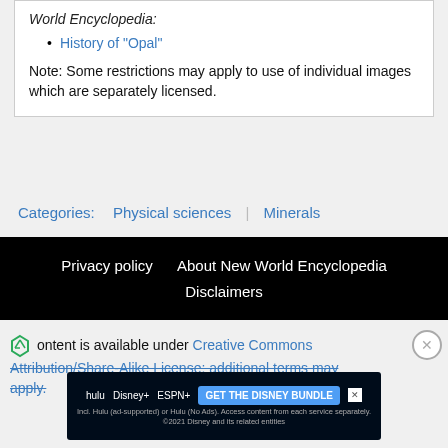World Encyclopedia:
History of "Opal"
Note: Some restrictions may apply to use of individual images which are separately licensed.
Categories:   Physical sciences  |  Minerals
Privacy policy   About New World Encyclopedia   Disclaimers
Content is available under Creative Commons Attribution/Share-Alike License; additional terms may apply.
[Figure (screenshot): Advertisement banner for Disney Bundle (Hulu, Disney+, ESPN+)]